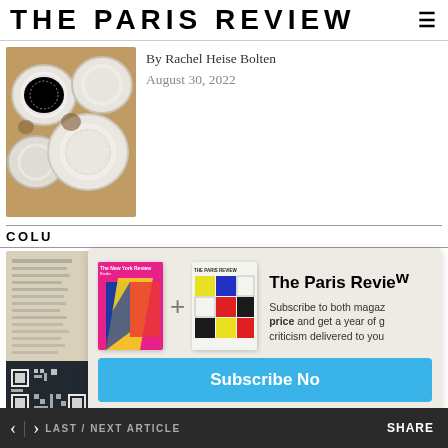THE PARIS REVIEW
By Rachel Heise Bolten
August 30, 2022
[Figure (photo): White ceramic bowls viewed from above on a wooden surface]
COLU
[Figure (photo): Thumbnail image - handwritten manuscript pages]
[Figure (infographic): Subscription modal: The New York Review magazine cover plus The Paris Review magazine cover with Subscribe Now button. Text reads: The Paris Review — Subscribe to both magazines at one price and get a year of great criticism delivered to you.]
The Review's Review
By The Staff of The Paris Review
< > LAST / NEXT ARTICLE    SHARE